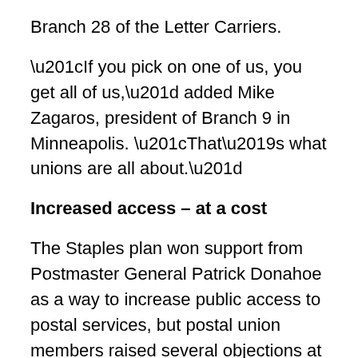Branch 28 of the Letter Carriers.
“If you pick on one of us, you get all of us,” added Mike Zagaros, president of Branch 9 in Minneapolis. “That’s what unions are all about.”
Increased access – at a cost
The Staples plan won support from Postmaster General Patrick Donahoe as a way to increase public access to postal services, but postal union members raised several objections at the rally.
Allowing Staples employees to do postal work, they said, undermines the security of the mail. Uniformed postal workers swear an oath to protect the safety and security of the mail. They must pass a background check before being hired, and, once on the job, they go through